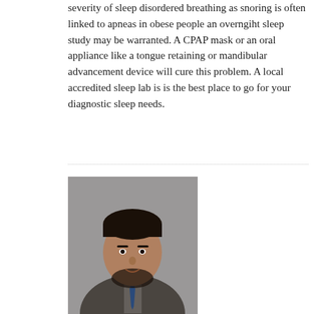severity of sleep disordered breathing as snoring is often linked to apneas in obese people an overngiht sleep study may be warranted. A CPAP mask or an oral appliance like a tongue retaining or mandibular advancement device will cure this problem. A local accredited sleep lab is is the best place to go for your diagnostic sleep needs.
[Figure (photo): Professional headshot of Syed Nabi, M.D., a man in a suit with a blue tie]
Syed Nabi, M.D.
Answered on: 6/1/2012 1
A sleep study will help determine if you have sleep apea. Once sleep apnea is treated, snoring should stop. Getting a sleep idea is a very good idea as it is the best way to know if you have sleep apnea or not. You can call around different labs in your area and can tour the facility to see where you would like to get one done.
[Figure (photo): Professional headshot of a woman with brown hair]